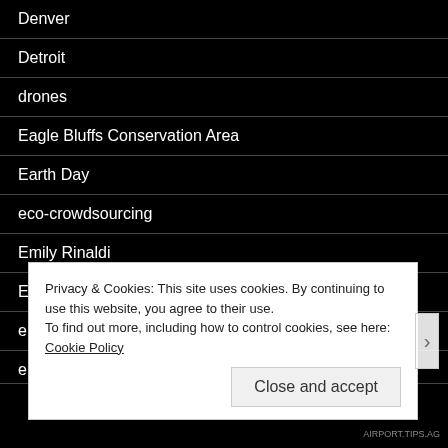Denver
Detroit
drones
Eagle Bluffs Conservation Area
Earth Day
eco-crowdsourcing
Emily Rinaldi
Environment Canada
environmental volulnteers
e...
Privacy & Cookies: This site uses cookies. By continuing to use this website, you agree to their use. To find out more, including how to control cookies, see here: Cookie Policy
Close and accept
AIRPORT.TIPS.AG